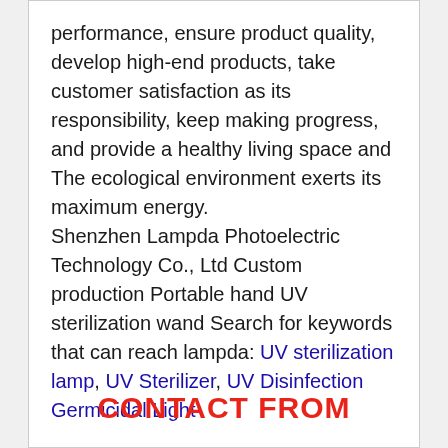performance, ensure product quality, develop high-end products, take customer satisfaction as its responsibility, keep making progress, and provide a healthy living space and The ecological environment exerts its maximum energy.

Shenzhen Lampda Photoelectric Technology Co., Ltd Custom production Portable hand UV sterilization wand Search for keywords that can reach lampda: UV sterilization lamp, UV Sterilizer, UV Disinfection Germicidal Light
CONTACT FROM